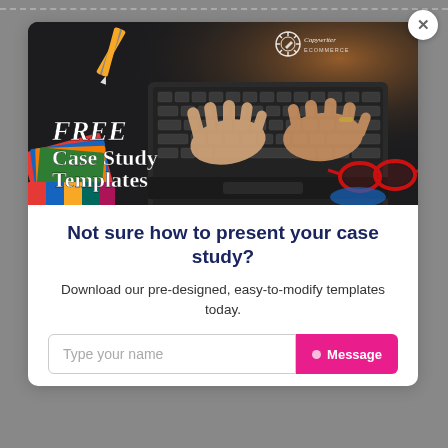[Figure (photo): Hero image of hands typing on laptop keyboard with colorful design cards on lower left, red glasses on lower right, and orange warm lighting. Text overlay reads FREE Case Study Templates. Logo reads Copywriter in upper right.]
Not sure how to present your case study?
Download our pre-designed, easy-to-modify templates today.
Type your name
Message